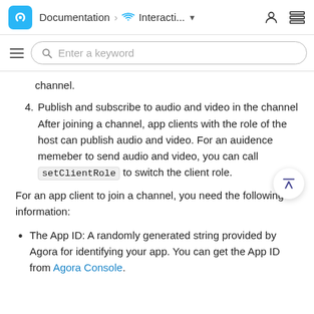Documentation > Interacti... (dropdown) [user icon] [library icon]
Enter a keyword (search bar)
channel.
4. Publish and subscribe to audio and video in the channel After joining a channel, app clients with the role of the host can publish audio and video. For an auidence memeber to send audio and video, you can call setClientRole to switch the client role.
For an app client to join a channel, you need the following information:
The App ID: A randomly generated string provided by Agora for identifying your app. You can get the App ID from Agora Console.